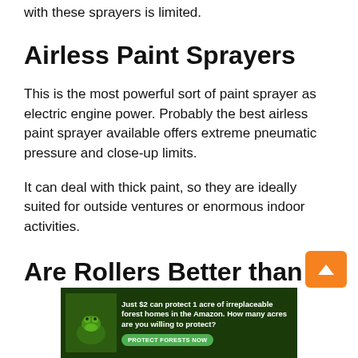with these sprayers is limited.
Airless Paint Sprayers
This is the most powerful sort of paint sprayer as electric engine power. Probably the best airless paint sprayer available offers extreme pneumatic pressure and close-up limits.
It can deal with thick paint, so they are ideally suited for outside ventures or enormous indoor activities.
Are Rollers Better than
[Figure (other): Advertisement banner: green forest background with text 'Just $2 can protect 1 acre of irreplaceable forest homes in the Amazon. How many acres are you willing to protect?' with a green 'PROTECT FORESTS NOW' button]